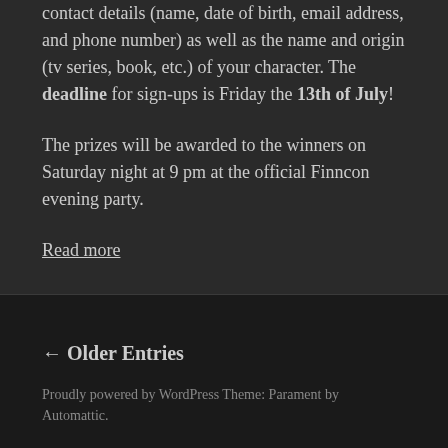contact details (name, date of birth, email address, and phone number) as well as the name and origin (tv series, book, etc.) of your character. The deadline for sign-ups is Friday the 13th of July!
The prizes will be awarded to the winners on Saturday night at 9 pm at the official Finncon evening party.
Read more
← Older Entries
Proudly powered by WordPress Theme: Parament by Automattic.